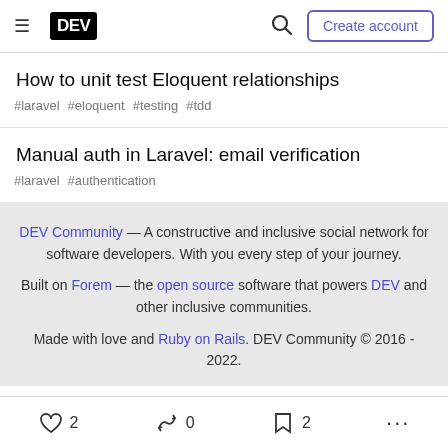DEV — Create account
How to unit test Eloquent relationships
#laravel #eloquent #testing #tdd
Manual auth in Laravel: email verification
#laravel #authentication
DEV Community — A constructive and inclusive social network for software developers. With you every step of your journey. Built on Forem — the open source software that powers DEV and other inclusive communities. Made with love and Ruby on Rails. DEV Community © 2016 - 2022.
2  0  2  ...